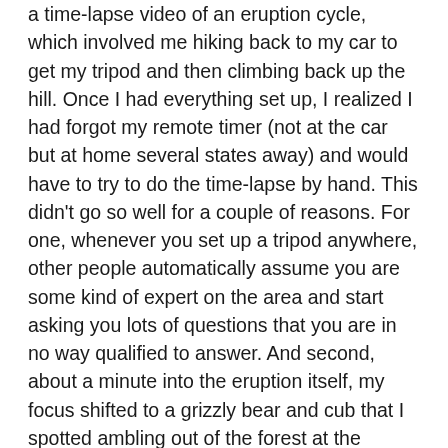a time-lapse video of an eruption cycle, which involved me hiking back to my car to get my tripod and then climbing back up the hill. Once I had everything set up, I realized I had forgot my remote timer (not at the car but at home several states away) and would have to try to do the time-lapse by hand. This didn't go so well for a couple of reasons. For one, whenever you set up a tripod anywhere, other people automatically assume you are some kind of expert on the area and start asking you lots of questions that you are in no way qualified to answer. And second, about a minute into the eruption itself, my focus shifted to a grizzly bear and cub that I spotted ambling out of the forest at the bottom of the hill (I ran into the same two bears on my hike back to the car about an hour later). The time-lapse didn't turn out too well but it was still a fun day of people-watching, geyser-gawking, and wildlife-spotting. My tally after 9 hours in Yellowstone: three Old Faithful